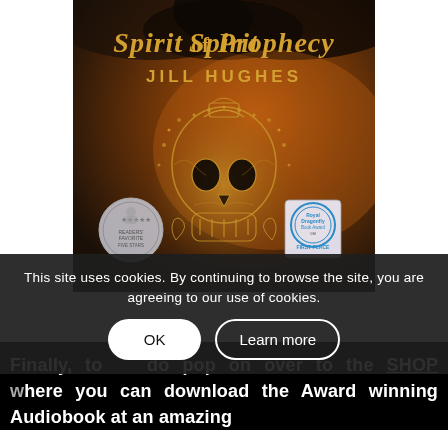[Figure (illustration): Book cover for 'Spirit of Prophecy' by Jill Hughes. Dark atmospheric background with orange/brown stormy sky. Central image is an ornate golden filigree skull decorated with stars and horses. Title 'Spirit of Prophecy' in large serif gold text at top, 'JILL HUGHES' in spaced capital letters below. Readers' Favorite five-star award seal bottom left, Royal Dragonfly Book Award first place badge bottom right.]
This site uses cookies. By continuing to browse the site, you are agreeing to our use of cookies.
Finally, to do pop on over to the SHOP where you can download the Award winning Audiobook at an amazing